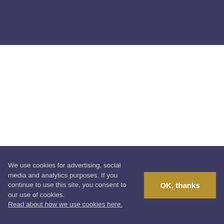[Figure (other): Dark purple/navy header bar area]
[Figure (other): White main content area]
We use cookies for advertising, social media and analytics purposes. If you continue to use this site, you consent to our use of cookies. Read about how we use cookies here.
OK, thanks